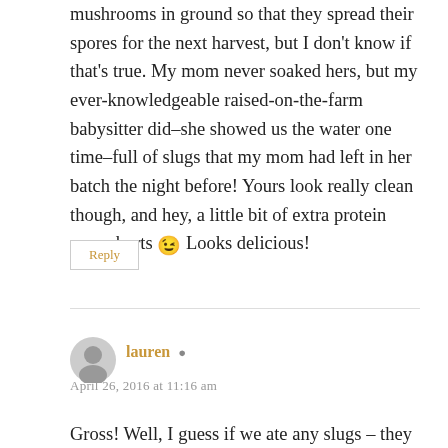mushrooms in ground so that they spread their spores for the next harvest, but I don't know if that's true. My mom never soaked hers, but my ever-knowledgeable raised-on-the-farm babysitter did–she showed us the water one time–full of slugs that my mom had left in her batch the night before! Yours look really clean though, and hey, a little bit of extra protein never hurts 😉 Looks delicious!
Reply
lauren
April 26, 2016 at 11:16 am
Gross! Well, I guess if we ate any slugs – they sure